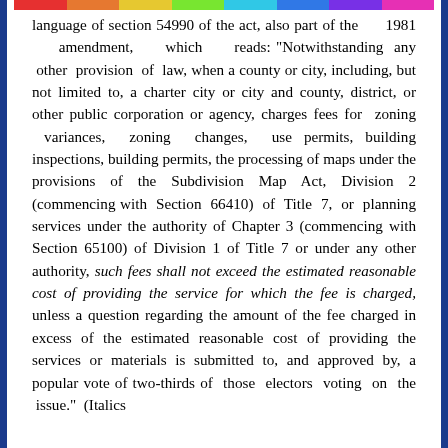language of section 54990 of the act, also part of the 1981 amendment, which reads: "Notwithstanding any other provision of law, when a county or city, including, but not limited to, a charter city or city and county, district, or other public corporation or agency, charges fees for zoning variances, zoning changes, use permits, building inspections, building permits, the processing of maps under the provisions of the Subdivision Map Act, Division 2 (commencing with Section 66410) of Title 7, or planning services under the authority of Chapter 3 (commencing with Section 65100) of Division 1 of Title 7 or under any other authority, such fees shall not exceed the estimated reasonable cost of providing the service for which the fee is charged, unless a question regarding the amount of the fee charged in excess of the estimated reasonable cost of providing the services or materials is submitted to, and approved by, a popular vote of two-thirds of those electors voting on the issue." (Italics